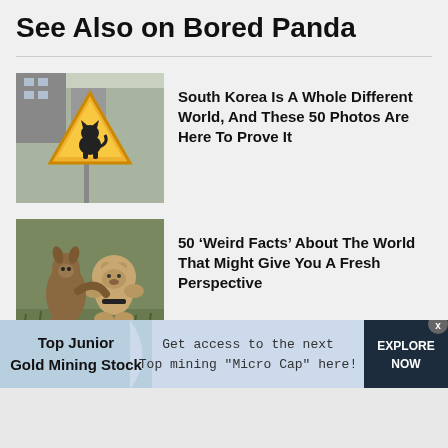See Also on Bored Panda
[Figure (photo): Yellow triangular warning road sign with a cat silhouette inside it, mounted on a pole with buildings in the background]
South Korea Is A Whole Different World, And These 50 Photos Are Here To Prove It
[Figure (photo): A kangaroo hugging a large stuffed teddy bear in an outdoor grassy area]
50 ‘Weird Facts’ About The World That Might Give You A Fresh Perspective
[Figure (infographic): Advertisement banner: Top Junior Gold Mining Stock - Get access to the next Top mining "Micro Cap" here! - EXPLORE NOW]